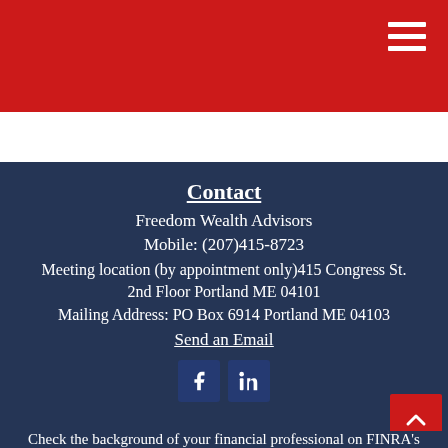Navigation menu header with red background
Contact
Freedom Wealth Advisors
Mobile: (207)415-8723
Meeting location (by appointment only)415 Congress St. 2nd Floor Portland ME 04101
Mailing Address: PO Box 6914 Portland ME 04103
Send an Email
Check the background of your financial professional on FINRA's